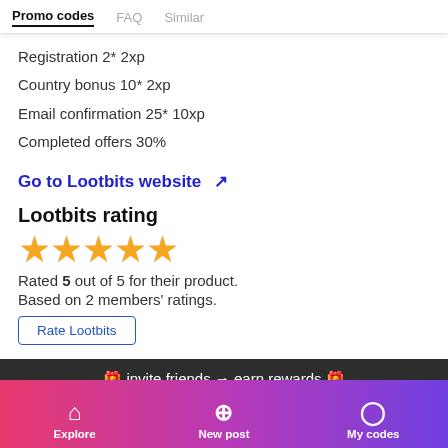Promo codes | FAQ | Similar
Registration 2* 2xp
Country bonus 10* 2xp
Email confirmation 25* 10xp
Completed offers 30%
Go to Lootbits website ↗
Lootbits rating
[Figure (other): Five gold star rating icons]
Rated 5 out of 5 for their product.
Based on 2 members' ratings.
Rate Lootbits
🎁 invite friends → earn rewards 🎁
Explore | New post | My codes